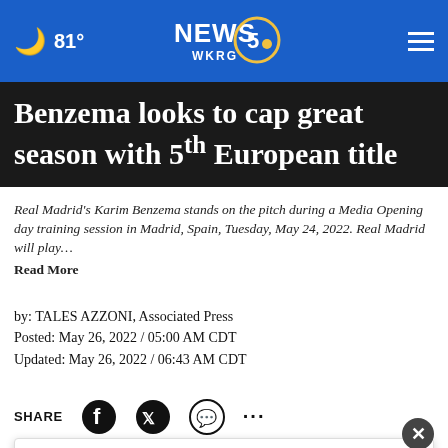🌙 81° NEWS 5 WKRG
Benzema looks to cap great season with 5th European title
Real Madrid's Karim Benzema stands on the pitch during a Media Opening day training session in Madrid, Spain, Tuesday, May 24, 2022. Real Madrid will play… Read More
by: TALES AZZONI, Associated Press
Posted: May 26, 2022 / 05:00 AM CDT
Updated: May 26, 2022 / 06:43 AM CDT
SHARE
MADRID — When Real Madrid was in a Champions League final, it was in a supporting role to
[Figure (screenshot): Advertisement overlay: HC logo with text 'View store hours, get directions, or call your salon!']